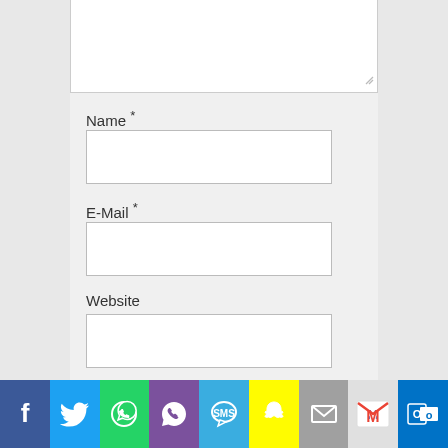[Figure (screenshot): Textarea form field (top portion visible, partially cut off at top)]
Name *
[Figure (screenshot): Name input text field, empty]
E-Mail *
[Figure (screenshot): E-Mail input text field, empty]
Website
[Figure (screenshot): Website input text field, empty]
Meinen Namen, E-Mail und Website in diesem Browser speichern, bis ich
[Figure (screenshot): Social share bar with icons: Facebook, Twitter, WhatsApp, Viber, SMS, Snapchat, Email, Gmail, Outlook]